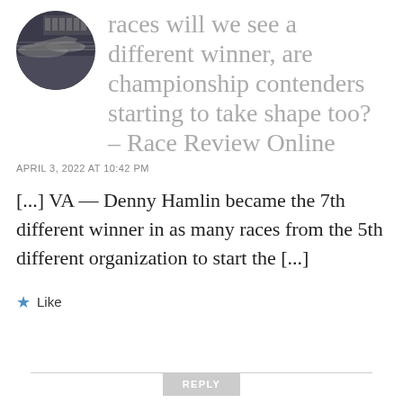[Figure (photo): Circular avatar image of racing cars on a track, blurred motion]
races will we see a different winner, are championship contenders starting to take shape too? – Race Review Online
APRIL 3, 2022 AT 10:42 PM
[...] VA — Denny Hamlin became the 7th different winner in as many races from the 5th different organization to start the [...]
★ Like
REPLY